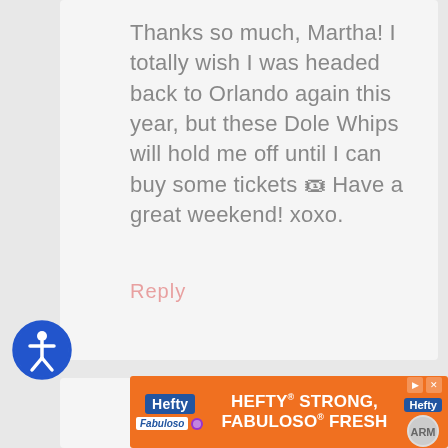Thanks so much, Martha! I totally wish I was headed back to Orlando again this year, but these Dole Whips will hold me off until I can buy some tickets 🎟 Have a great weekend! xoxo.
Reply
[Figure (other): Blue circular accessibility icon with white person figure and arms/legs spread]
sue says
[Figure (other): Hefty Strong, Fabuloso Fresh advertisement banner with orange background]